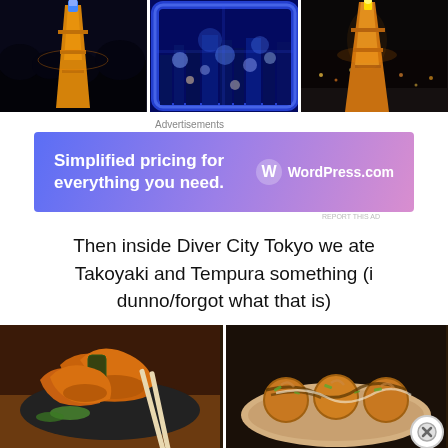[Figure (photo): Three photos in a row: left shows Tokyo Tower illuminated at night with blue/orange lights, center shows a city night skyline through a window with blue lighting and bokeh lights, right shows Tokyo Tower lit up orange/gold against a dark night sky]
Advertisements
[Figure (other): WordPress.com advertisement banner with gradient blue-purple-pink background. Text reads: Simplified pricing for everything you need. WordPress.com logo on right.]
REPORT THIS AD
Then inside Diver City Tokyo we ate Takoyaki and Tempura something (i dunno/forgot what that is)
[Figure (photo): Two food photos side by side: left shows tempura (fried shrimp and vegetables) in a bowl, right shows takoyaki (octopus balls) on a plate with sauce and green onions]
Advertisements
[Figure (other): WordPress VIP advertisement banner with orange-pink gradient background. WordPress W logo with 'vip' text on left, 'Learn more →' button on right.]
REPORT THIS AD